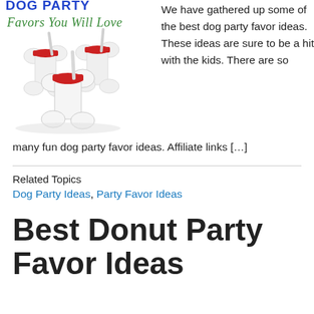[Figure (photo): Dog bone shaped cup/tumbler party favors with red lids and straws, three cups shown, with decorative text 'Favors You Will Love' at top in green italic script, partially visible title text in blue at very top]
We have gathered up some of the best dog party favor ideas. These ideas are sure to be a hit with the kids. There are so many fun dog party favor ideas. Affiliate links […]
Related Topics
Dog Party Ideas, Party Favor Ideas
Best Donut Party Favor Ideas